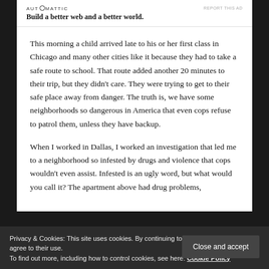[Figure (logo): Automattic logo with tagline: Build a better web and a better world.]
This morning a child arrived late to his or her first class in Chicago and many other cities like it because they had to take a safe route to school. That route added another 20 minutes to their trip, but they didn't care. They were trying to get to their safe place away from danger. The truth is, we have some neighborhoods so dangerous in America that even cops refuse to patrol them, unless they have backup.
When I worked in Dallas, I worked an investigation that led me to a neighborhood so infested by drugs and violence that cops wouldn't even assist. Infested is an ugly word, but what would you call it? The apartment above had drug problems,
Privacy & Cookies: This site uses cookies. By continuing to use this website, you agree to their use.
To find out more, including how to control cookies, see here: Cookie Policy